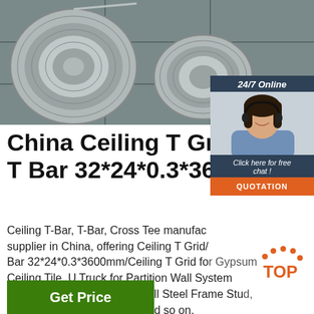[Figure (photo): Coils of galvanized steel wire/rods stacked on a tiled floor, industrial setting]
[Figure (other): 24/7 Online customer service widget with a female agent wearing a headset, blue/dark background, 'Click here for free chat!' text and an orange QUOTATION button]
China Ceiling T Grid/Ceiling T Bar 32*24*0.3*3600mm
Ceiling T-Bar, T-Bar, Cross Tee manufacturer supplier in China, offering Ceiling T Grid/Ceiling T Bar 32*24*0.3*3600mm/Ceiling T Grid for Gypsum Ceiling Tile, U Truck for Partition Wall System 45*35*0.5mm/Partition Drywall Steel Frame Stud, Steel Profile 40*18*0.5mm and so on.
[Figure (other): Orange TOP badge with decorative dots, scroll-to-top indicator]
Get Price